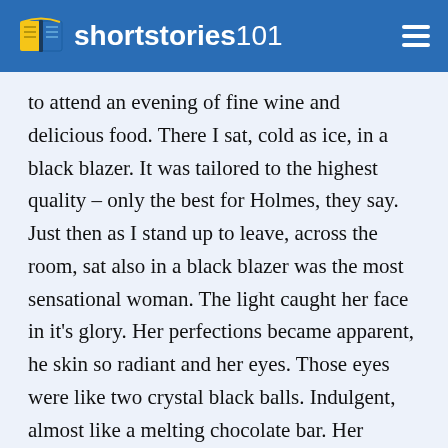shortstories101
to attend an evening of fine wine and delicious food. There I sat, cold as ice, in a black blazer. It was tailored to the highest quality – only the best for Holmes, they say. Just then as I stand up to leave, across the room, sat also in a black blazer was the most sensational woman. The light caught her face in it's glory. Her perfections became apparent, he skin so radiant and her eyes. Those eyes were like two crystal black balls. Indulgent, almost like a melting chocolate bar. Her clothes hugged her body and her blazer hung loosely of her broad shoulders. She was beautiful. A petit lady dressed in black